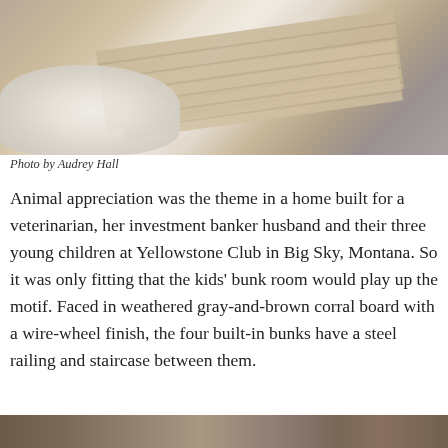[Figure (photo): Interior photo showing weathered wood corral board paneling with a diagonal arrangement, a fluffy white fur rug or sheepskin in the lower left, and what appears to be a window or mirror with metal frame in the upper right. The palette is warm grays and browns.]
Photo by Audrey Hall
Animal appreciation was the theme in a home built for a veterinarian, her investment banker husband and their three young children at Yellowstone Club in Big Sky, Montana. So it was only fitting that the kids’ bunk room would play up the motif. Faced in weathered gray-and-brown corral board with a wire-wheel finish, the four built-in bunks have a steel railing and staircase between them.
[Figure (photo): Partial view of another interior photo at the bottom of the page, showing warm brown and earth-tone tones, likely a continuation of the Yellowstone Club home interior.]